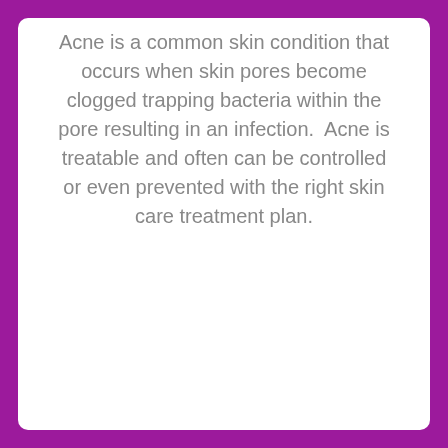Acne is a common skin condition that occurs when skin pores become clogged trapping bacteria within the pore resulting in an infection.  Acne is treatable and often can be controlled or even prevented with the right skin care treatment plan.